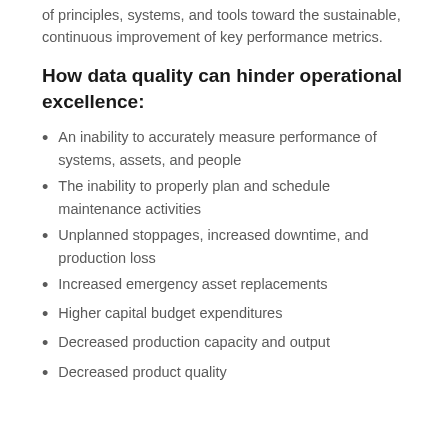of principles, systems, and tools toward the sustainable, continuous improvement of key performance metrics.
How data quality can hinder operational excellence:
An inability to accurately measure performance of systems, assets, and people
The inability to properly plan and schedule maintenance activities
Unplanned stoppages, increased downtime, and production loss
Increased emergency asset replacements
Higher capital budget expenditures
Decreased production capacity and output
Decreased product quality